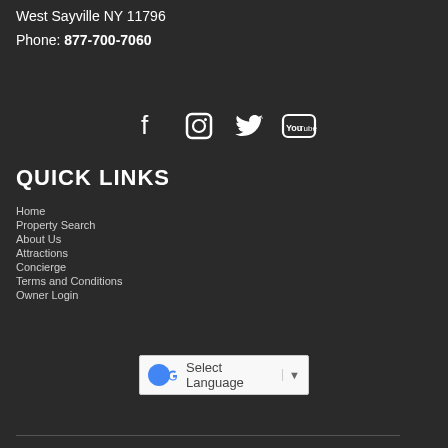West Sayville NY 11796
Phone: 877-700-7060
[Figure (illustration): Social media icons: Facebook, Instagram, Twitter, YouTube]
QUICK LINKS
Home
Property Search
About Us
Attractions
Concierge
Terms and Conditions
Owner Login
[Figure (other): Google Translate Select Language dropdown widget]